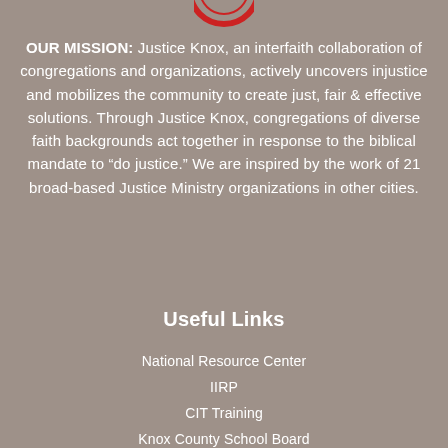[Figure (logo): Partial red circular logo at top center, partially cropped]
OUR MISSION: Justice Knox, an interfaith collaboration of congregations and organizations, actively uncovers injustice and mobilizes the community to create just, fair & effective solutions. Through Justice Knox, congregations of diverse faith backgrounds act together in response to the biblical mandate to “do justice.” We are inspired by the work of 21 broad-based Justice Ministry organizations in other cities.
Useful Links
National Resource Center
IIRP
CIT Training
Knox County School Board
Justice Knox Lead Organizer
Justice Knox Officers